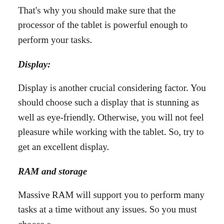That's why you should make sure that the processor of the tablet is powerful enough to perform your tasks.
Display:
Display is another crucial considering factor. You should choose such a display that is stunning as well as eye-friendly. Otherwise, you will not feel pleasure while working with the tablet. So, try to get an excellent display.
RAM and storage
Massive RAM will support you to perform many tasks at a time without any issues. So you must choose a